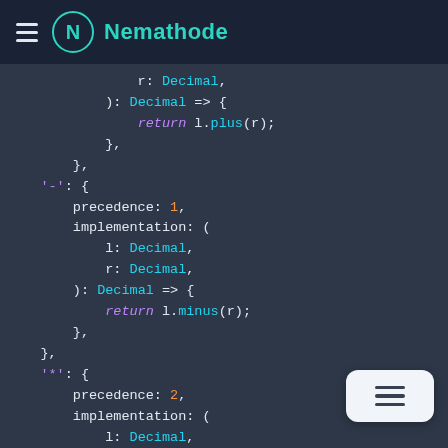Nemathode
r: Decimal,
        ): Decimal => {
            return l.plus(r);
        },
    },
    '-': {
        precedence: 1,
        implementation: (
            l: Decimal,
            r: Decimal,
        ): Decimal => {
            return l.minus(r);
        },
    },
    '*': {
        precedence: 2,
        implementation: (
            l: Decimal,